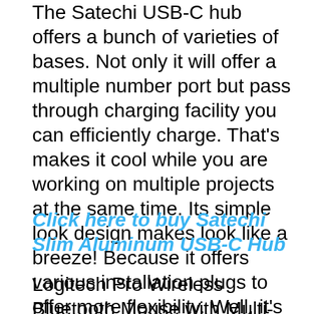The Satechi USB-C hub offers a bunch of varieties of bases. Not only it will offer a multiple number port but pass through charging facility you can efficiently charge. That's makes it cool while you are working on multiple projects at the same time. Its simple look design makes look like a breeze! Because it offers various installation plugs to offer more flexibility. Well, it's available in three different colors gold, silver, and space gray.
Click here to buy Satechi Slim Aluminum USB-C Hub
Logitech Pro Wireless Bluetooth Mouse with Multi-Device Connectivity
As we continue to line up various needy accessories for Samsung Galaxy tab